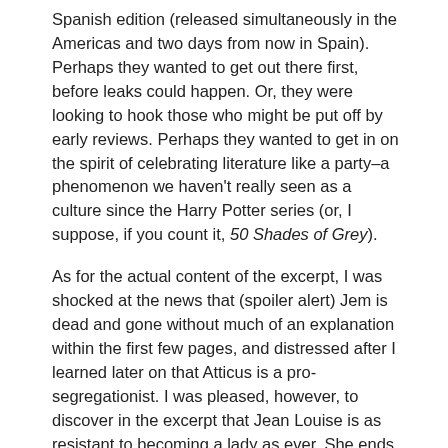Spanish edition (released simultaneously in the Americas and two days from now in Spain). Perhaps they wanted to get out there first, before leaks could happen. Or, they were looking to hook those who might be put off by early reviews. Perhaps they wanted to get in on the spirit of celebrating literature like a party–a phenomenon we haven't really seen as a culture since the Harry Potter series (or, I suppose, if you count it, 50 Shades of Grey).
As for the actual content of the excerpt, I was shocked at the news that (spoiler alert) Jem is dead and gone without much of an explanation within the first few pages, and distressed after I learned later on that Atticus is a pro-segregationist. I was pleased, however, to discover in the excerpt that Jean Louise is as resistant to becoming a lady as ever. She ends the first chapter unsure she wants to accept a marriage proposal to Atticus' protégée simply because she's not sure she's totally in love with him. Unlike the majority of the reviews I've seen, I'm excited for a more mature, third person narration from adult Scout.